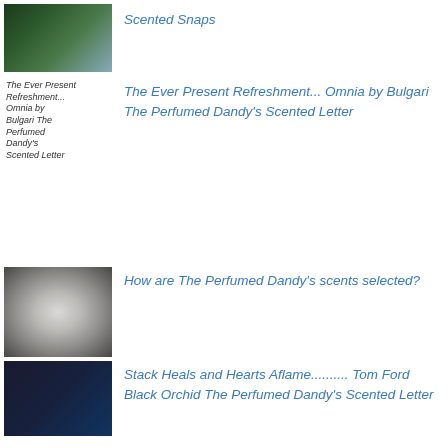[Figure (photo): Thumbnail photo of flowers/garden scene]
Scented Snaps
[Figure (illustration): Broken image placeholder with alt text: The Ever Present Refreshment... Omnia by Bulgari The Perfumed Dandy's Scented Letter]
The Ever Present Refreshment... Omnia by Bulgari The Perfumed Dandy's Scented Letter
[Figure (photo): Black and white thumbnail photo of hands/rings]
How are The Perfumed Dandy's scents selected?
[Figure (photo): Dark purple/blue toned thumbnail photo of figures]
Stack Heals and Hearts Aflame.......... Tom Ford Black Orchid The Perfumed Dandy's Scented Letter